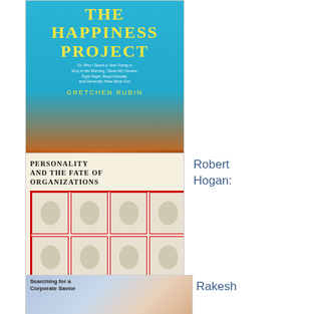[Figure (illustration): Book cover of The Happiness Project by Gretchen Rubin - blue/cyan background with yellow title text and brownstone building at bottom]
Gretchen Rubin: The Happiness Project
[Figure (illustration): Book cover of Personality and the Fate of Organizations by Robert Hogan - cream background with grid of portrait engravings in red grid]
Robert Hogan:
Personality and the Fate of Organizations
[Figure (illustration): Partial view of book cover Searching for a Corporate Savior]
Rakesh